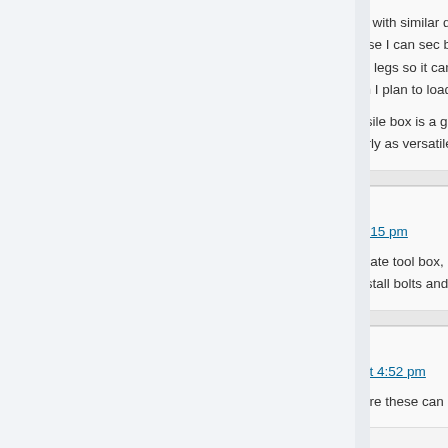I have built a case with similar dimensions from wide. I have yet to weigh it, but it's heavy! I built an exercise in futility. With my case I can sec brackets on all four corners. It also has 10" inflat a rugged handle on the other end so it can be m legs so it can be used as a make-shift shooting b and secure along with compartments to secure . And when I plan to load at the range, I have a li truck.
I truly feel the missile box is a great idea for any contain all their gear. I probably would have bou about before now. It will be nearly as versatile as
Gaston says:
July 19, 2010 at 9:15 pm
I use a diamond plate tool box, not one to fit in wheel well along the length of the bed. It include order to make it waterproof was install bolts and Ebay.
Al says:
August 25, 2011 at 4:52 pm
Anyone know where these can now be purchase